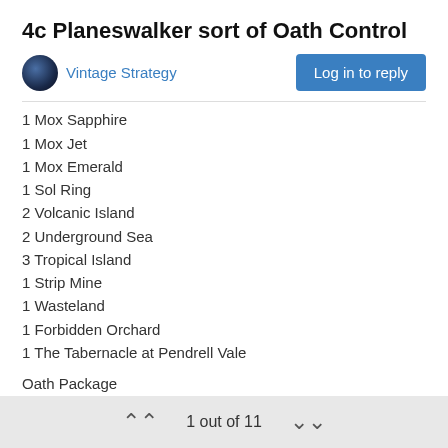4c Planeswalker sort of Oath Control
Vintage Strategy
1 Mox Sapphire
1 Mox Jet
1 Mox Emerald
1 Sol Ring
2 Volcanic Island
2 Underground Sea
3 Tropical Island
1 Strip Mine
1 Wasteland
1 Forbidden Orchard
1 The Tabernacle at Pendrell Vale
Oath Package
3 Oath of Druids
1 Emrakul, the Aeons Torn
1 Inferno Titan
2 Crop Rotation (for orchard, strip lock, mana fixing, or tabernacle)
1 out of 11